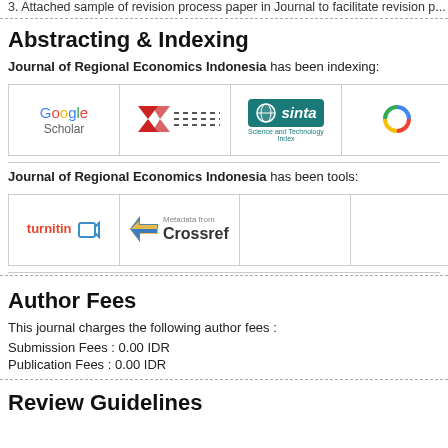3. Attached sample of revision process paper in Journal to facilitate revision p...
Abstracting & Indexing
Journal of Regional Economics Indonesia has been indexing:
[Figure (logo): Logos of indexing services: Google Scholar, an unidentified service with red chevron logo, Sinta, and a partially visible fourth logo]
Journal of Regional Economics Indonesia has been tools:
[Figure (logo): Logos of tools: Turnitin and Crossref Metadata, plus two partially visible logos]
Author Fees
This journal charges the following author fees :
Submission Fees : 0.00 IDR
Publication Fees : 0.00 IDR
Review Guidelines